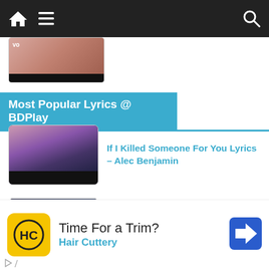[Figure (screenshot): Mobile app navigation bar with home icon, hamburger menu, and search icon on dark background]
[Figure (photo): Partial thumbnail image cropped at top, showing skin tones and dark bar at bottom with 'vo' text]
Most Popular Lyrics @ BDPlay
[Figure (photo): Thumbnail for 'If I Killed Someone For You Lyrics – Alec Benjamin', showing a person in a landscape at dusk]
If I Killed Someone For You Lyrics – Alec Benjamin
[Figure (photo): Thumbnail for 'Don't Rain On My Parade Lyrics – Barbra...', dark scene with figure and play button]
Don't Rain On My Parade Lyrics – Barbra...
[Figure (photo): Partial thumbnail for 'Kings & Queens Lyrics – Ava Max']
Kings & Queens Lyrics – Ava Max
[Figure (screenshot): Advertisement for Hair Cuttery with yellow logo, 'Time For a Trim?' text, and blue navigation icon]